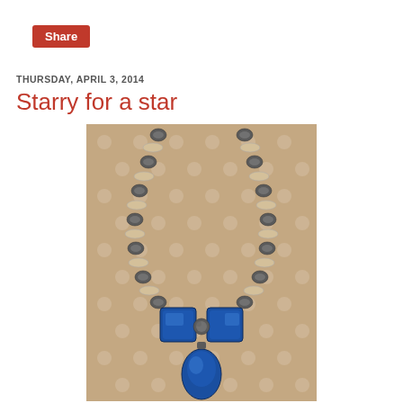Share
THURSDAY, APRIL 3, 2014
Starry for a star
[Figure (photo): A beaded necklace with tan/cream disc beads and black-and-white patterned beads arranged in a V-shape, with two blue square ceramic pendants and a blue teardrop pendant at the bottom, photographed on a brown polka-dot fabric background.]